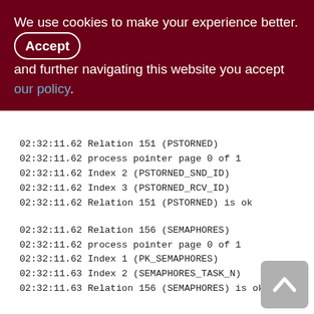We use cookies to make your experience better. By accepting and further navigating this website you accept our policy.
02:32:11.62 Relation 151 (PSTORNED)
02:32:11.62 process pointer page 0 of 1
02:32:11.62 Index 2 (PSTORNED_SND_ID)
02:32:11.62 Index 3 (PSTORNED_RCV_ID)
02:32:11.62 Relation 151 (PSTORNED) is ok

02:32:11.62 Relation 156 (SEMAPHORES)
02:32:11.62 process pointer page 0 of 1
02:32:11.62 Index 1 (PK_SEMAPHORES)
02:32:11.63 Index 2 (SEMAPHORES_TASK_N)
02:32:11.63 Relation 156 (SEMAPHORES) is ok